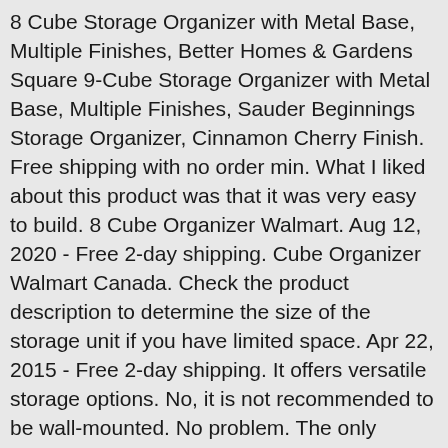8 Cube Storage Organizer with Metal Base, Multiple Finishes, Better Homes & Gardens Square 9-Cube Storage Organizer with Metal Base, Multiple Finishes, Sauder Beginnings Storage Organizer, Cinnamon Cherry Finish. Free shipping with no order min. What I liked about this product was that it was very easy to build. 8 Cube Organizer Walmart. Aug 12, 2020 - Free 2-day shipping. Cube Organizer Walmart Canada. Check the product description to determine the size of the storage unit if you have limited space. Apr 22, 2015 - Free 2-day shipping. It offers versatile storage options. No, it is not recommended to be wall-mounted. No problem. The only option was to return it all to the store which is inconvenient since the entire product was heavy and required two people to carry it upstairs. Or to out some items on there. This button opens a dialog that displays additional images for this product with the option to